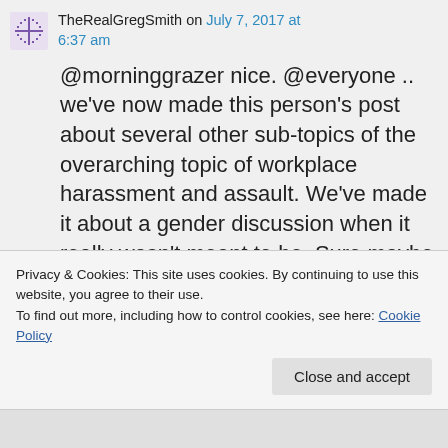TheRealGregSmith on July 7, 2017 at 6:37 am
@morninggrazer nice. @everyone .. we've now made this person's post about several other sub-topics of the overarching topic of workplace harassment and assault. We've made it about a gender discussion when it really wasn't meant to be. Sure maybe certain instances
Privacy & Cookies: This site uses cookies. By continuing to use this website, you agree to their use.
To find out more, including how to control cookies, see here: Cookie Policy
Close and accept